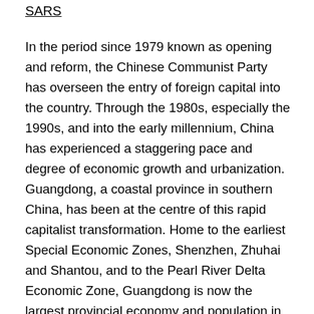SARS
In the period since 1979 known as opening and reform, the Chinese Communist Party has overseen the entry of foreign capital into the country. Through the 1980s, especially the 1990s, and into the early millennium, China has experienced a staggering pace and degree of economic growth and urbanization. Guangdong, a coastal province in southern China, has been at the centre of this rapid capitalist transformation. Home to the earliest Special Economic Zones, Shenzhen, Zhuhai and Shantou, and to the Pearl River Delta Economic Zone, Guangdong is now the largest provincial economy and population in China, with Guangzhou (its capital) and Shenzhen global megacities and the country's top two cities for GDP output. This has driven two ecological effects: the development of industrial-scale poultry farms to supply Guangdong's huge